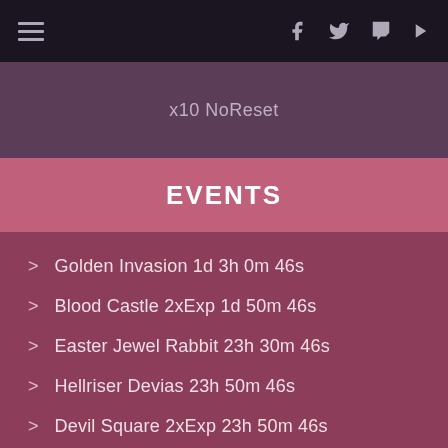x10 NoReset
EVENTS
> Golden Invasion 1d 3h 0m 46s
> Blood Castle 2xExp 1d 50m 46s
> Easter Jewel Rabbit 23h 30m 46s
> Hellriser Devias 23h 50m 46s
> Devil Square 2xExp 23h 50m 46s
> Chaos Castle 1d 30m 46s